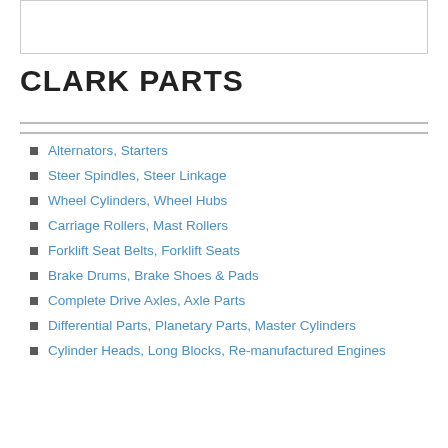[Figure (other): Empty white box with border at top of page]
CLARK PARTS
Alternators, Starters
Steer Spindles, Steer Linkage
Wheel Cylinders, Wheel Hubs
Carriage Rollers, Mast Rollers
Forklift Seat Belts, Forklift Seats
Brake Drums, Brake Shoes & Pads
Complete Drive Axles, Axle Parts
Differential Parts, Planetary Parts, Master Cylinders
Cylinder Heads, Long Blocks, Re-manufactured Engines